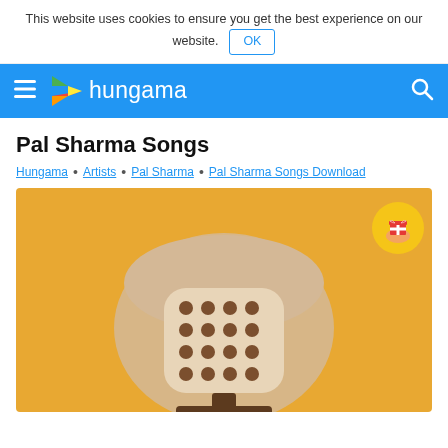This website uses cookies to ensure you get the best experience on our website. OK
[Figure (logo): Hungama music website navigation bar with hamburger menu, Hungama logo (colorful play button triangle), and search icon on blue background]
Pal Sharma Songs
Hungama • Artists • Pal Sharma • Pal Sharma Songs Download
[Figure (illustration): Illustration of a vintage microphone on an orange/amber background, with a cream-colored dome top and brown dot grid pattern on the microphone body]